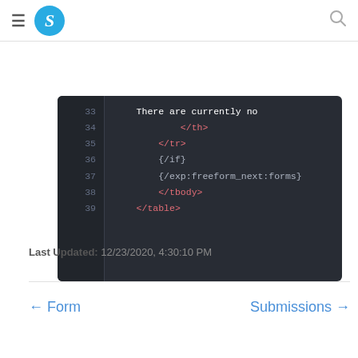S [logo] [hamburger menu] [search icon]
[Figure (screenshot): Dark-themed code editor showing HTML/template lines 33-39: line 33: 'There are currently no', line 34: '</th>', line 35: '</tr>', line 36: '{/if}', line 37: '{/exp:freeform_next:forms}', line 38: '</tbody>', line 39: '</table>']
Last Updated: 12/23/2020, 4:30:10 PM
← Form    Submissions →